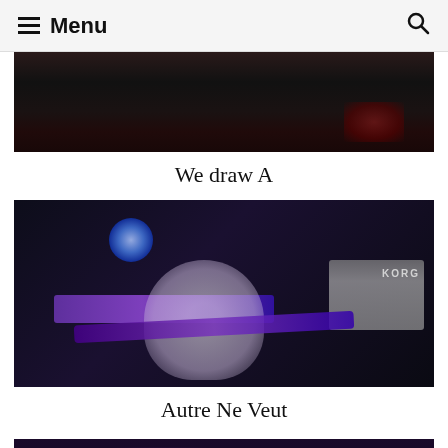Menu
[Figure (photo): Dark concert/stage photo, top portion visible, instruments and dark background]
We draw A
[Figure (photo): Performer with face paint playing keyboard/synthesizer on stage, purple lighting, Korg equipment visible in background, person wearing white t-shirt]
Autre Ne Veut
[Figure (photo): Concert stage photo with purple stage lighting and bright light orbs]